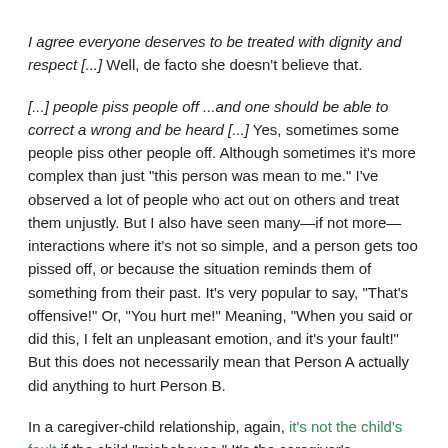I agree everyone deserves to be treated with dignity and respect [...] Well, de facto she doesn't believe that.
[...] people piss people off ...and one should be able to correct a wrong and be heard [...] Yes, sometimes some people piss other people off. Although sometimes it's more complex than just "this person was mean to me." I've observed a lot of people who act out on others and treat them unjustly. But I also have seen many—if not more—interactions where it's not so simple, and a person gets too pissed off, or because the situation reminds them of something from their past. It's very popular to say, "That's offensive!" Or, "You hurt me!" Meaning, "When you said or did this, I felt an unpleasant emotion, and it's your fault!" But this does not necessarily mean that Person A actually did anything to hurt Person B.
In a caregiver-child relationship, again, it's not the child's fault if the child "misbehaves." It's the caregiver's responsibility to